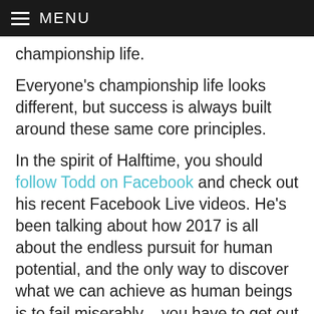MENU
championship life.
Everyone's championship life looks different, but success is always built around these same core principles.
In the spirit of Halftime, you should follow Todd on Facebook and check out his recent Facebook Live videos. He's been talking about how 2017 is all about the endless pursuit for human potential, and the only way to discover what we can achieve as human beings is to fail miserably – you have to get out there and go for it. We have to learn in order to move forward.